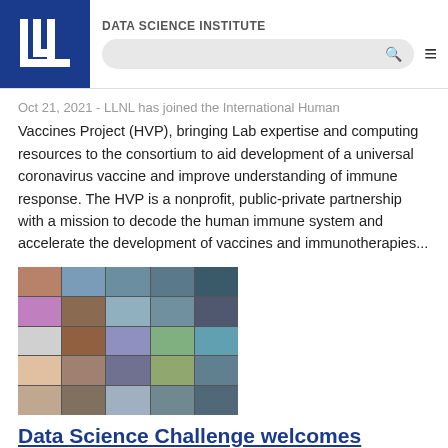DATA SCIENCE INSTITUTE
Oct 21, 2021 - LLNL has joined the International Human Vaccines Project (HVP), bringing Lab expertise and computing resources to the consortium to aid development of a universal coronavirus vaccine and improve understanding of immune response. The HVP is a nonprofit, public-private partnership with a mission to decode the human immune system and accelerate the development of vaccines and immunotherapies...
[Figure (photo): Grid of video call participants (zoom-style) showing approximately 25 people in a 5x5 grid layout]
Data Science Challenge welcomes UC Riverside
Oct. 11, 2021- Together with LLNL's Center for Applied